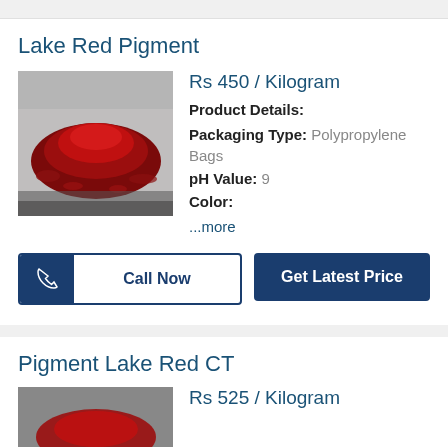Lake Red Pigment
[Figure (photo): A pile of dark red pigment powder on a white background]
Rs 450 / Kilogram
Product Details:
Packaging Type: Polypropylene Bags
pH Value: 9
Color:
...more
Call Now
Get Latest Price
Pigment Lake Red CT
[Figure (photo): Partial view of red pigment product image]
Rs 525 / Kilogram